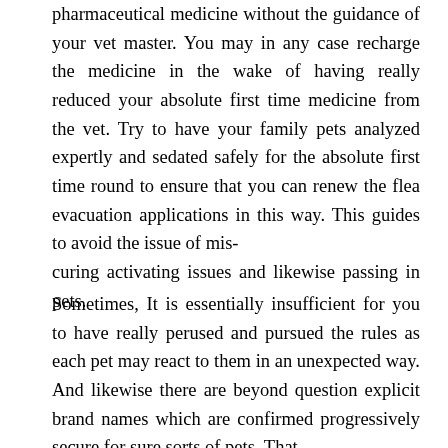pharmaceutical medicine without the guidance of your vet master. You may in any case recharge the medicine in the wake of having really reduced your absolute first time medicine from the vet. Try to have your family pets analyzed expertly and sedated safely for the absolute first time round to ensure that you can renew the flea evacuation applications in this way. This guides to avoid the issue of miscuring activating issues and likewise passing in pets.
Sometimes, It is essentially insufficient for you to have really perused and pursued the rules as each pet may react to them in an unexpected way. And likewise there are beyond question explicit brand names which are confirmed progressively secure for sure sorts of pets. That